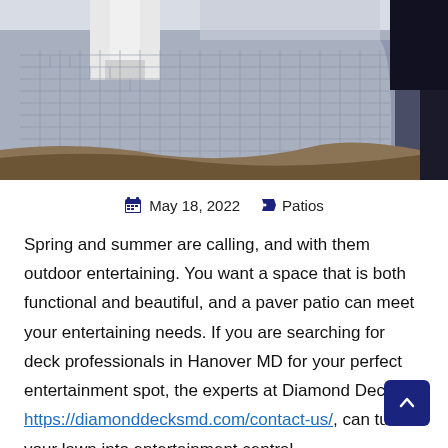[Figure (photo): Aerial/perspective view of a brick/stone paver patio with herringbone pattern in gray tones, adjacent to a house with white column, brown grass visible at edges]
May 18, 2022   Patios
Spring and summer are calling, and with them outdoor entertaining. You want a space that is both functional and beautiful, and a paver patio can meet your entertaining needs. If you are searching for deck professionals in Hanover MD for your perfect entertainment spot, the experts at Diamond Decks, https://diamonddecksmd.com/contact-us/, can turn your lawn into entertainment central